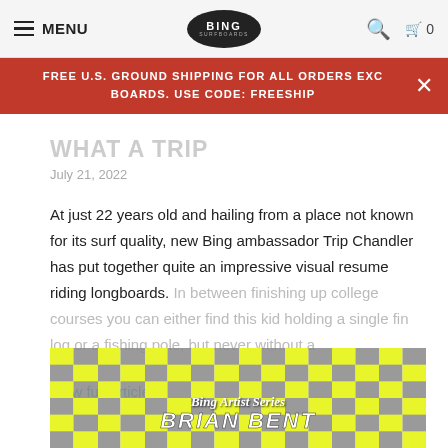MENU | BING SURFBOARDS logo | search | cart 0
FREE U.S. GROUND SHIPPING FOR ALL ORDERS EXC BOARDS. USE CODE: FREESHIP
WHAT A TRIP
July 21, 2022
At just 22 years old and hailing from a place not known for its surf quality, new Bing ambassador Trip Chandler has put together quite an impressive visual resume riding longboards. In between finishing up college courses you can either find this kid holding a single fin log or a fishing pole, but never without a
View full article →
[Figure (photo): Checkerboard pattern of yellow squares and surfing photos with text 'Bing Artist Series BRIAN BENT']